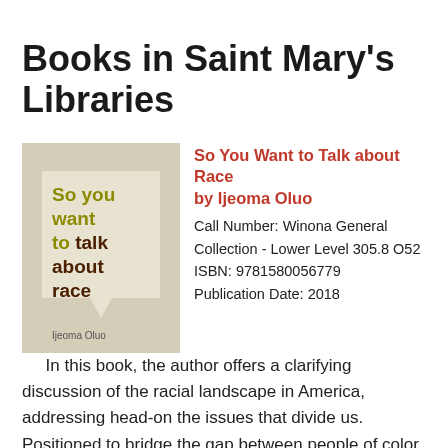Books in Saint Mary's Libraries
[Figure (illustration): Book cover of 'So you want to talk about race' by Ijeoma Oluo — beige/tan background with olive green and dark brown text, speech bubble shape in center]
So You Want to Talk about Race by Ijeoma Oluo
Call Number: Winona General Collection - Lower Level 305.8 O52
ISBN: 9781580056779
Publication Date: 2018
In this book, the author offers a clarifying discussion of the racial landscape in America, addressing head-on the issues that divide us. Positioned to bridge the gap between people of color and white Americans struggling with race complexities, she explains the concepts that continue elude everyday Americans, and